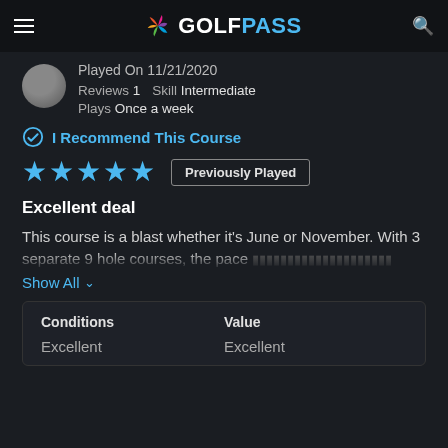GOLFPASS
Played On 11/21/2020
Reviews 1  Skill Intermediate
Plays Once a week
I Recommend This Course
★★★★★  Previously Played
Excellent deal
This course is a blast whether it's June or November. With 3 separate 9 hole courses, the pace ...
Show All
| Conditions | Value |
| --- | --- |
| Excellent | Excellent |